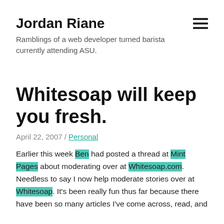Jordan Riane
Ramblings of a web developer turned barista currently attending ASU.
Whitesoap will keep you fresh.
April 22, 2007 / Personal
Earlier this week Ben had posted a thread at Mint Pages about moderating over at Whitesoap.com. Needless to say I now help moderate stories over at Whitesoap. It's been really fun thus far because there have been so many articles I've come across, read, and